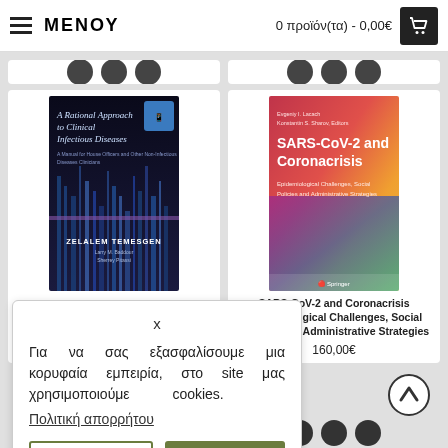ΜΕΝΟΥ   0 προϊόν(τα) - 0,00€
[Figure (photo): Book cover: A Rational Approach to Clinical Infectious Diseases by Zelalem Temesgen]
[Figure (photo): Book cover: SARS-CoV-2 and Coronacrisis Epidemiological Challenges, Social Policies and Administrative Strategies, Springer]
SARS-CoV-2 and Coronacrisis Epidemiological Challenges, Social Policies and Administrative Strategies
160,00€
x
Για να σας εξασφαλίσουμε μια κορυφαία εμπειρία, στο site μας χρησιμοποιούμε cookies.
Πολιτική απορρήτου
Ρυθμίσεις
OK